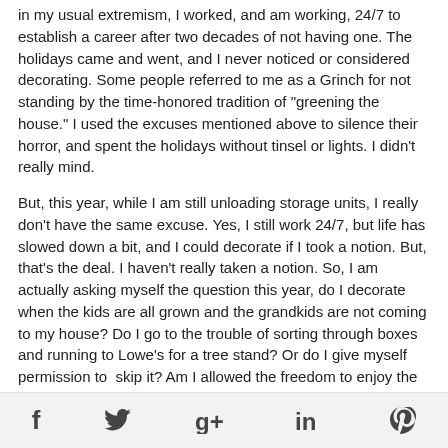in my usual extremism, I worked, and am working, 24/7 to establish a career after two decades of not having one. The holidays came and went, and I never noticed or considered decorating. Some people referred to me as a Grinch for not standing by the time-honored tradition of "greening the house." I used the excuses mentioned above to silence their horror, and spent the holidays without tinsel or lights. I didn't really mind.
But, this year, while I am still unloading storage units, I really don't have the same excuse. Yes, I still work 24/7, but life has slowed down a bit, and I could decorate if I took a notion. But, that's the deal. I haven't really taken a notion. So, I am actually asking myself the question this year, do I decorate when the kids are all grown and the grandkids are not coming to my house? Do I go to the trouble of sorting through boxes and running to Lowe's for a tree stand? Or do I give myself permission to  skip it? Am I allowed the freedom to enjoy the reason for the season without dealing with the trappings for the season?
Here's the bottom line. With a house full of kids, you'd have to be the biggest scrooge ever not to make Christmas Christmas. But
f  (twitter)  g+  in  (pinterest)